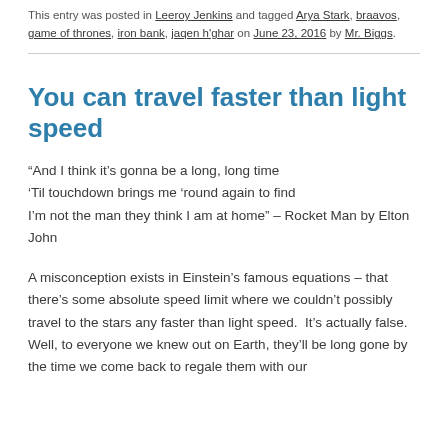This entry was posted in Leeroy Jenkins and tagged Arya Stark, braavos, game of thrones, iron bank, jaqen h'ghar on June 23, 2016 by Mr. Biggs.
You can travel faster than light speed
“And I think it’s gonna be a long, long time ‘Til touchdown brings me ‘round again to find I’m not the man they think I am at home” – Rocket Man by Elton John
A misconception exists in Einstein’s famous equations – that there’s some absolute speed limit where we couldn’t possibly travel to the stars any faster than light speed.  It’s actually false. Well, to everyone we knew out on Earth, they’ll be long gone by the time we come back to regale them with our